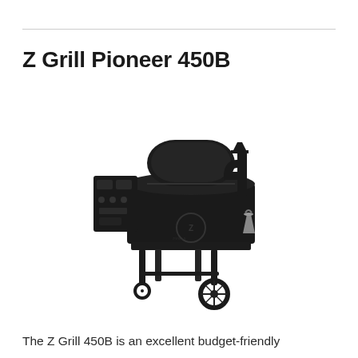Z Grill Pioneer 450B
[Figure (photo): Z Grill Pioneer 450B pellet smoker grill in black, shown from the front. Features a barrel-shaped cooking chamber, side control box, chimney with pyramid cap on the right side, four legs with a front swivel caster wheel and rear larger wheels, and a small bucket hanging on the right side.]
The Z Grill 450B is an excellent budget-friendly